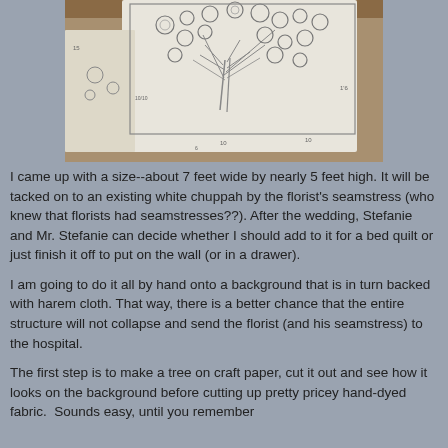[Figure (photo): A hand-drawn pencil sketch on white paper showing a tree design with circles (representing flowers or fruits) and a rectangular frame layout, with handwritten measurements and notations. The paper is photographed on a wooden surface.]
I came up with a size--about 7 feet wide by nearly 5 feet high. It will be tacked on to an existing white chuppah by the florist's seamstress (who knew that florists had seamstresses??). After the wedding, Stefanie and Mr. Stefanie can decide whether I should add to it for a bed quilt or just finish it off to put on the wall (or in a drawer).
I am going to do it all by hand onto a background that is in turn backed with harem cloth. That way, there is a better chance that the entire structure will not collapse and send the florist (and his seamstress) to the hospital.
The first step is to make a tree on craft paper, cut it out and see how it looks on the background before cutting up pretty pricey hand-dyed fabric.  Sounds easy, until you remember